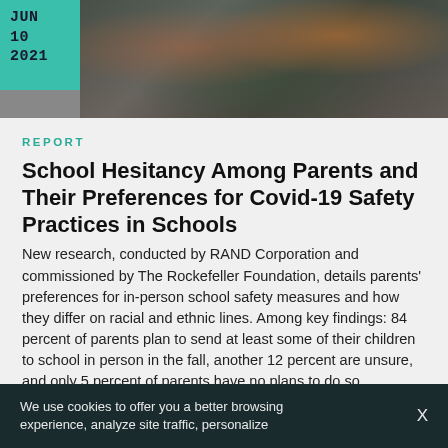[Figure (photo): Photo of students or people outdoors, likely school-related, with a teal date box overlay showing JUN 10 2021]
REPORT
School Hesitancy Among Parents and Their Preferences for Covid-19 Safety Practices in Schools
New research, conducted by RAND Corporation and commissioned by The Rockefeller Foundation, details parents' preferences for in-person school safety measures and how they differ on racial and ethnic lines. Among key findings: 84 percent of parents plan to send at least some of their children to school in person in the fall, another 12 percent are unsure, and only 5 percent of parents have no plans to do so.
We use cookies to offer you a better browsing experience, analyze site traffic, personalize